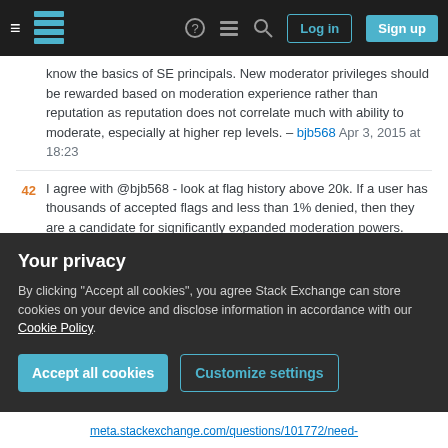[Figure (screenshot): Stack Exchange navigation bar with hamburger menu, SE logo, help icon, chat icon, search icon, Log in and Sign up buttons on dark background]
know the basics of SE principals. New moderator privileges should be rewarded based on moderation experience rather than reputation as reputation does not correlate much with ability to moderate, especially at higher rep levels. – bjb568 Apr 3, 2015 at 18:23
42  I agree with @bjb568 - look at flag history above 20k. If a user has thousands of accepted flags and less than 1% denied, then they are a candidate for significantly expanded moderation powers. Reputation is only good for telling us the user has contrbuted good content to the community - it isn't as helpful past a certain point at telling us whether that user should be given more access to sensitive moderation duties. It's
Your privacy
By clicking "Accept all cookies", you agree Stack Exchange can store cookies on your device and disclose information in accordance with our Cookie Policy.
Accept all cookies
Customize settings
meta.stackexchange.com/questions/101772/need-